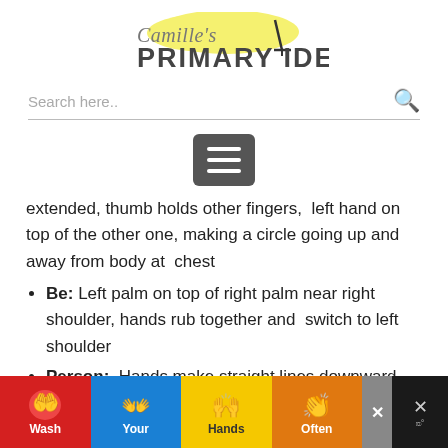Camille's PRIMARY IDEAS
Search here..
[Figure (other): Hamburger menu button (three horizontal lines on dark grey rounded rectangle background)]
extended, thumb holds other fingers,  left hand on top of the other one, making a circle going up and away from body at  chest
Be: Left palm on top of right palm near right shoulder, hands rub together and  switch to left shoulder
Person:  Hands make straight lines downward like
[Figure (infographic): Wash Your Hands Often advertisement banner with colorful hand-washing icons on red, blue, yellow, and orange backgrounds]